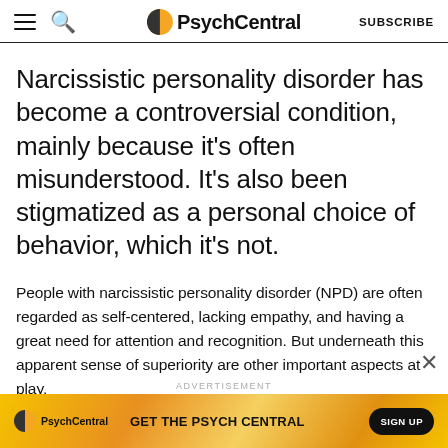PsychCentral — SUBSCRIBE
Narcissistic personality disorder has become a controversial condition, mainly because it's often misunderstood. It's also been stigmatized as a personal choice of behavior, which it's not.
People with narcissistic personality disorder (NPD) are often regarded as self-centered, lacking empathy, and having a great need for attention and recognition. But underneath this apparent sense of superiority are other important aspects at play.
[Figure (screenshot): PsychCentral advertisement banner with orange/yellow gradient background. Shows PsychCentral logo on left, text 'GET THE PSYCH CENTRAL' in center, and 'SIGN UP' button on right.]